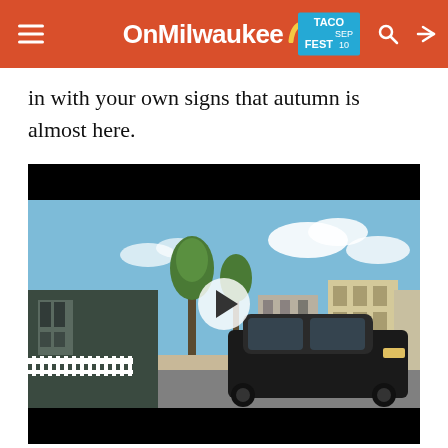OnMilwaukee | TACO FEST SEP 10
in with your own signs that autumn is almost here.
[Figure (photo): Street scene video thumbnail showing a Milwaukee street with a black SUV parked on the right, young trees along the sidewalk, brick buildings, and a blue sky with clouds. A play button overlay is centered on the image.]
1. I feel a twinge of crispness in the air that reminds fall is coming. Hoodies, take note.